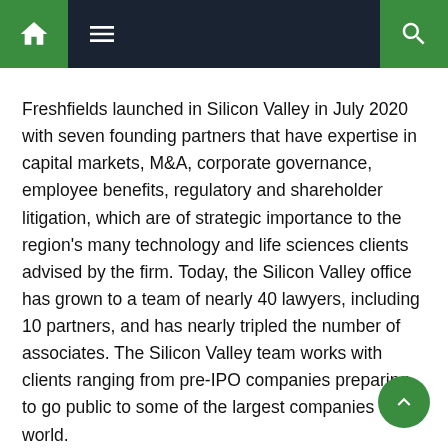Navigation bar with home, menu, and search icons
Freshfields launched in Silicon Valley in July 2020 with seven founding partners that have expertise in capital markets, M&A, corporate governance, employee benefits, regulatory and shareholder litigation, which are of strategic importance to the region's many technology and life sciences clients advised by the firm. Today, the Silicon Valley office has grown to a team of nearly 40 lawyers, including 10 partners, and has nearly tripled the number of associates. The Silicon Valley team works with clients ranging from pre-IPO companies preparing to go public to some of the largest companies in the world.
“The great tech and biotech companies in Northern California have stretched the contours of the Valley out from San Jose to San Francisco and the East Bay. We’re